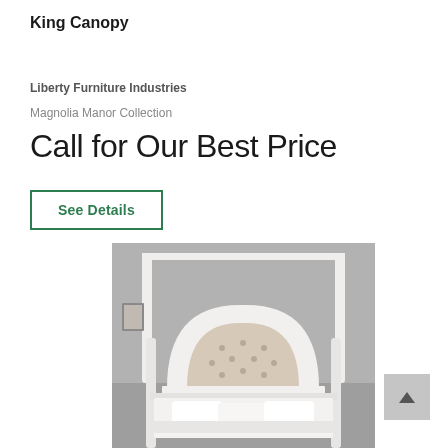King Canopy
Liberty Furniture Industries
Magnolia Manor Collection
Call for Our Best Price
See Details
[Figure (photo): White king canopy bed with tufted upholstered headboard and four poster canopy frame, dressed with white bedding, photographed in a grey-walled room.]